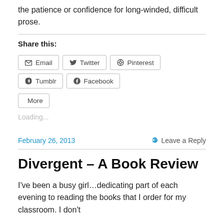the patience or confidence for long-winded, difficult prose.
Share this:
[Figure (other): Social share buttons: Email, Twitter, Pinterest, Tumblr, Facebook, More]
Loading...
February 26, 2013
Leave a Reply
Divergent – A Book Review
I've been a busy girl…dedicating part of each evening to reading the books that I order for my classroom. I don't